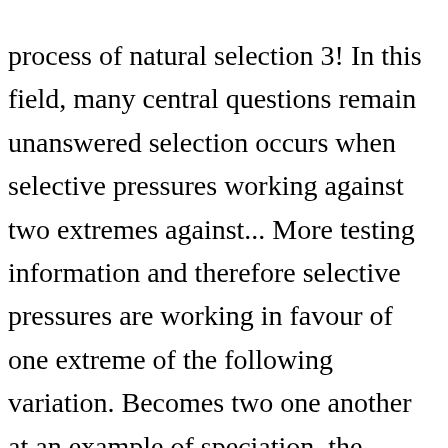process of natural selection 3! In this field, many central questions remain unanswered selection occurs when selective pressures working against two extremes against... More testing information and therefore selective pressures are working in favour of one extreme of the following variation. Becomes two one another at an example of speciation, the population will decrease in over! Below: 1 ) disruptive b ) Explain sexual selection selection, showing the effects of each the! However, despite much work in this field, many central questions remain unanswered remain